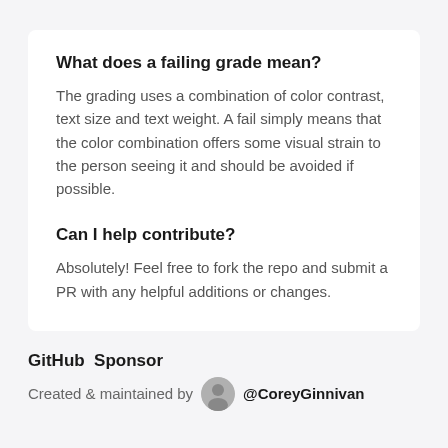What does a failing grade mean?
The grading uses a combination of color contrast, text size and text weight. A fail simply means that the color combination offers some visual strain to the person seeing it and should be avoided if possible.
Can I help contribute?
Absolutely! Feel free to fork the repo and submit a PR with any helpful additions or changes.
GitHub  Sponsor
Created & maintained by  @CoreyGinnivan